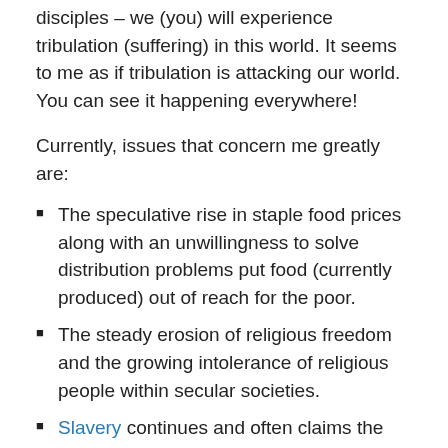disciples – we (you) will experience tribulation (suffering) in this world.  It seems to me as if tribulation is attacking our world.  You can see it happening everywhere!
Currently, issues that concern me greatly are:
The speculative rise in staple food prices along with an unwillingness to solve distribution problems put food (currently produced) out of reach for the poor.
The steady erosion of religious freedom and the growing intolerance of religious people within secular societies.
Slavery continues and often claims the youngest and most vulnerable among us.  The power of money and the greed that follows chokes off the development real solutions.
Ongoing wars that rage around, the utilization of children to fight, and discrimination billons that…